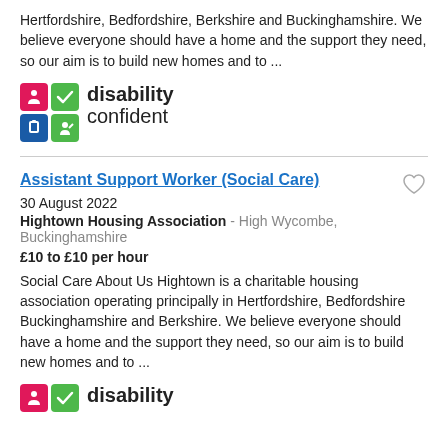Hertfordshire, Bedfordshire, Berkshire and Buckinghamshire. We believe everyone should have a home and the support they need, so our aim is to build new homes and to ...
[Figure (logo): Disability Confident logo with four colored icon boxes and text 'disability confident']
Assistant Support Worker (Social Care)
30 August 2022
Hightown Housing Association - High Wycombe, Buckinghamshire
£10 to £10 per hour
Social Care About Us Hightown is a charitable housing association operating principally in Hertfordshire, Bedfordshire Buckinghamshire and Berkshire. We believe everyone should have a home and the support they need, so our aim is to build new homes and to ...
[Figure (logo): Disability Confident logo (partial) with two colored icon boxes and partial text 'disability']